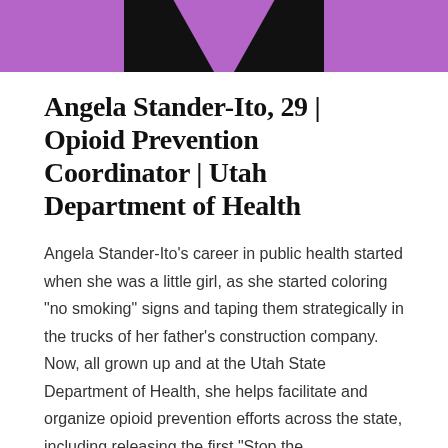[Figure (photo): Partial photo with purple background and black shapes visible at the bottom, cropped at top of page]
Angela Stander-Ito, 29 | Opioid Prevention Coordinator | Utah Department of Health
Angela Stander-Ito’s career in public health started when she was a little girl, as she started coloring “no smoking” signs and taping them strategically in the trucks of her father’s construction company. Now, all grown up and at the Utah State Department of Health, she helps facilitate and organize opioid prevention efforts across the state, including releasing the first “Stop the